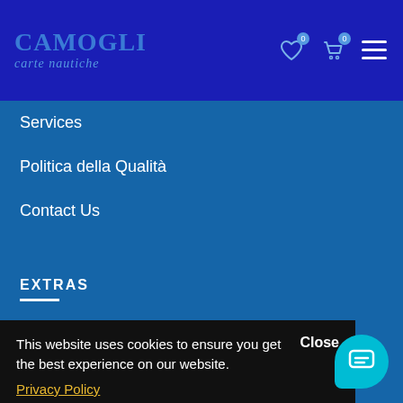CAMOGLI carte nautiche
Services
Politica della Qualità
Contact Us
EXTRAS
Brands
Gift Certificates
Affiliates
Specials
Site Map
This website uses cookies to ensure you get the best experience on our website.
Privacy Policy
Close
Preferences
Accept
ACCOUNT